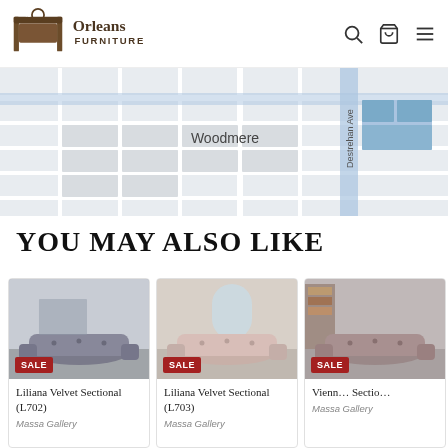[Figure (logo): Orleans Furniture logo with decorative chair icon and brand name]
[Figure (map): Street map showing Woodmere area with Destrehan Ave road visible in blue]
YOU MAY ALSO LIKE
[Figure (photo): Gray curved tufted sectional sofa product photo with SALE badge]
Liliana Velvet Sectional (L702)
Massa Gallery
[Figure (photo): Light pink curved tufted sectional sofa product photo with SALE badge]
Liliana Velvet Sectional (L703)
Massa Gallery
[Figure (photo): Third sectional sofa product photo partially visible with SALE badge]
Vienn… Sectio…
Massa Gallery